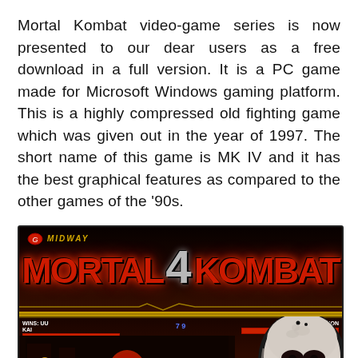Mortal Kombat video-game series is now presented to our dear users as a free download in a full version. It is a PC game made for Microsoft Windows gaming platform. This is a highly compressed old fighting game which was given out in the year of 1997. The short name of this game is MK IV and it has the best graphical features as compared to the other games of the '90s.
[Figure (screenshot): Screenshot of Mortal Kombat 4 game showing the title screen with MIDWAY logo, 'MORTAL 4 KOMBAT' text in red and silver, a gameplay scene with KAI vs SCORPION health bars, and a close-up of Quan Chi character face on the right side.]